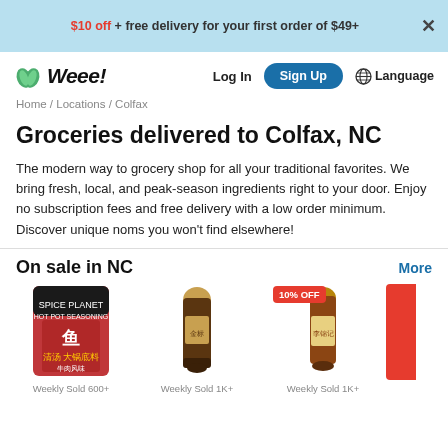$10 off + free delivery for your first order of $49+
[Figure (logo): Weee! grocery delivery service logo with two green leaves and italic bold text]
Log In
Sign Up
Language
Home / Locations / Colfax
Groceries delivered to Colfax, NC
The modern way to grocery shop for all your traditional favorites. We bring fresh, local, and peak-season ingredients right to your door. Enjoy no subscription fees and free delivery with a low order minimum. Discover unique noms you won't find elsewhere!
On sale in NC
[Figure (photo): Hot pot seasoning product bag with Chinese characters, red and black packaging]
Weekly Sold 600+
[Figure (photo): Dark soy sauce bottle with brown label]
Weekly Sold 1K+
[Figure (photo): Sauce bottle with 10% OFF badge, colorful label]
Weekly Sold 1K+